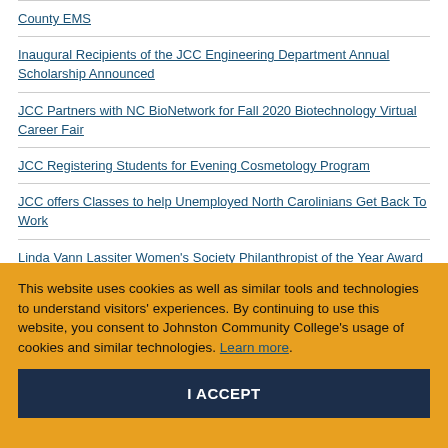County EMS
Inaugural Recipients of the JCC Engineering Department Annual Scholarship Announced
JCC Partners with NC BioNetwork for Fall 2020 Biotechnology Virtual Career Fair
JCC Registering Students for Evening Cosmetology Program
JCC offers Classes to help Unemployed North Carolinians Get Back To Work
Linda Vann Lassiter Women's Society Philanthropist of the Year Award Open for Applications
Wear Red on Friday, Feb 5th for Heart Health Awareness
Johnston Health Named JCC's 2020 Top Business and Industry Partner
This website uses cookies as well as similar tools and technologies to understand visitors' experiences. By continuing to use this website, you consent to Johnston Community College's usage of cookies and similar technologies. Learn more.
I ACCEPT